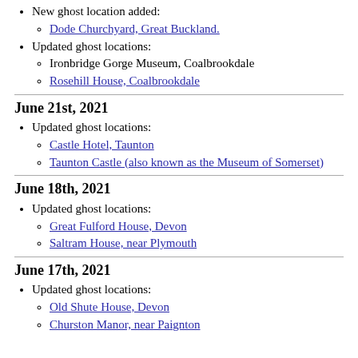New ghost location added:
Dode Churchyard, Great Buckland.
Updated ghost locations:
Ironbridge Gorge Museum, Coalbrookdale
Rosehill House, Coalbrookdale
June 21st, 2021
Updated ghost locations:
Castle Hotel, Taunton
Taunton Castle (also known as the Museum of Somerset)
June 18th, 2021
Updated ghost locations:
Great Fulford House, Devon
Saltram House, near Plymouth
June 17th, 2021
Updated ghost locations:
Old Shute House, Devon
Churston Manor, near Paignton